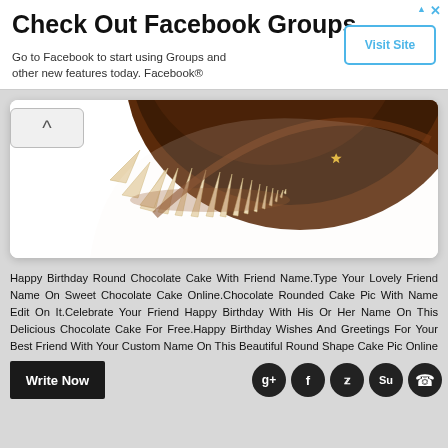[Figure (other): Advertisement banner: Check Out Facebook Groups with Visit Site button]
[Figure (photo): Partial top-down view of a round chocolate cake with white chocolate decorative triangular/zigzag border and a small gold decoration, on white background inside a rounded card]
Happy Birthday Round Chocolate Cake With Friend Name.Type Your Lovely Friend Name On Sweet Chocolate Cake Online.Chocolate Rounded Cake Pic With Name Edit On It.Celebrate Your Friend Happy Birthday With His Or Her Name On This Delicious Chocolate Cake For Free.Happy Birthday Wishes And Greetings For Your Best Friend With Your Custom Name On This Beautiful Round Shape Cake Pic Online For Free.Print Your Girl Friend Or Boy Friend Name On This Birthday Cake And Share It On
[Figure (other): Write Now button (black) and social sharing icons (Google+, Facebook, Twitter, StumbleUpon, WhatsApp) in dark circles]